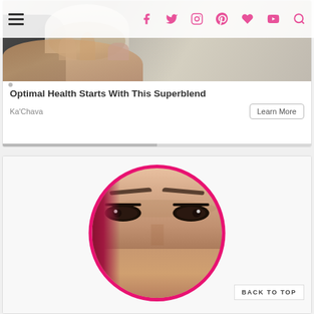Navigation bar with hamburger menu and social icons: Facebook, Twitter, Instagram, Pinterest, heart/Bloglovin, YouTube, Search
[Figure (photo): Advertisement card showing a person holding a smoothie/supplement bowl, with hands and partial face visible against a sandy background]
Optimal Health Starts With This Superblend
Ka'Chava
Learn More
[Figure (photo): Second content card showing a woman's face with dramatic eye makeup framed in a hot pink circle border, partially cropped at page bottom]
BACK TO TOP